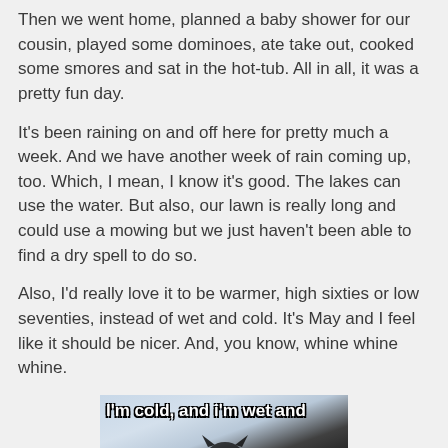Then we went home, planned a baby shower for our cousin, played some dominoes, ate take out, cooked some smores and sat in the hot-tub. All in all, it was a pretty fun day.
It's been raining on and off here for pretty much a week. And we have another week of rain coming up, too. Which, I mean, I know it's good. The lakes can use the water. But also, our lawn is really long and could use a mowing but we just haven't been able to find a dry spell to do so.
Also, I'd really love it to be warmer, high sixties or low seventies, instead of wet and cold. It's May and I feel like it should be nicer. And, you know, whine whine whine.
[Figure (photo): Meme image of a black cat in snow with text 'I'm cold, and i'm wet and' at the top and 'i'm tired and i'm wet' at the bottom]